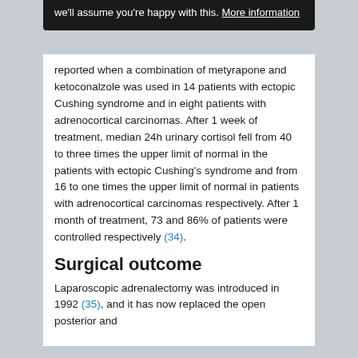we'll assume you're happy with this. More information
reported when a combination of metyrapone and ketoconalzole was used in 14 patients with ectopic Cushing syndrome and in eight patients with adrenocortical carcinomas. After 1 week of treatment, median 24h urinary cortisol fell from 40 to three times the upper limit of normal in the patients with ectopic Cushing's syndrome and from 16 to one times the upper limit of normal in patients with adrenocortical carcinomas respectively. After 1 month of treatment, 73 and 86% of patients were controlled respectively (34).
Surgical outcome
Laparoscopic adrenalectomy was introduced in 1992 (35), and it has now replaced the open posterior and